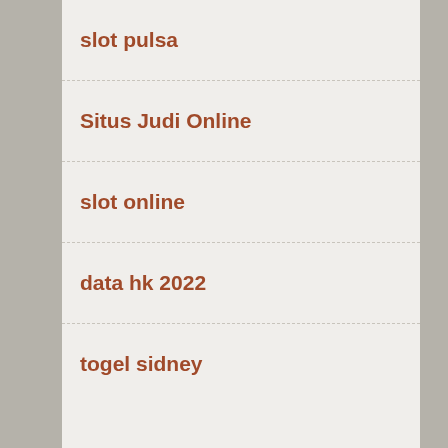slot pulsa
Situs Judi Online
slot online
data hk 2022
togel sidney